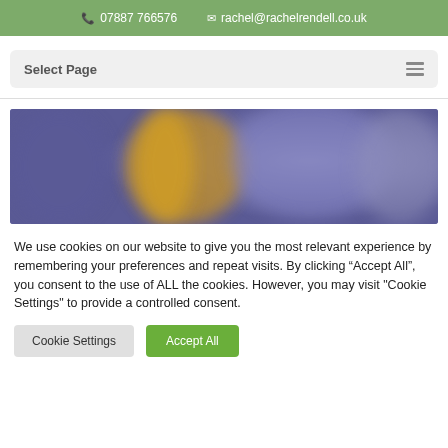07887 766576   rachel@rachelrendell.co.uk
Select Page
[Figure (photo): Blurred abstract photo with purple, blue and gold/amber tones, appears to be a bokeh or abstract art photograph.]
We use cookies on our website to give you the most relevant experience by remembering your preferences and repeat visits. By clicking “Accept All”, you consent to the use of ALL the cookies. However, you may visit "Cookie Settings" to provide a controlled consent.
Cookie Settings   Accept All